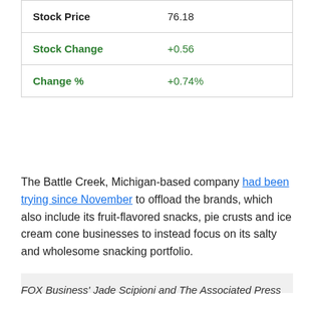| Stock Price | 76.18 |
| Stock Change | +0.56 |
| Change % | +0.74% |
The Battle Creek, Michigan-based company had been trying since November to offload the brands, which also include its fruit-flavored snacks, pie crusts and ice cream cone businesses to instead focus on its salty and wholesome snacking portfolio.
[Figure (photo): Gray placeholder image box]
FOX Business' Jade Scipioni and The Associated Press